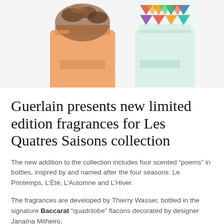[Figure (photo): Two Guerlain fragrance bottles — one with floral top decorations in warm peachy-orange tones on the left, and one with colorful geometric pattern decorations on the right — shown cropped from the top of the page.]
Guerlain presents new limited edition fragrances for Les Quatres Saisons collection
The new addition to the collection includes four scented “poems” in bottles, inspred by and named after the four seasons: Le Printemps, L’Été, L’Automne and L’Hiver.
The fragrances are developed by Thierry Wasser, bottled in the signature Baccarat “quadrilobe” flacons decorated by designer Janaína Milheiro.
Le Printemps is a fresh floral fragrance of spring. Bergamot and hyacinth cross into the heart of freesia, Bulgarian rose and cyclamen. The base ends with a touch of white musk.